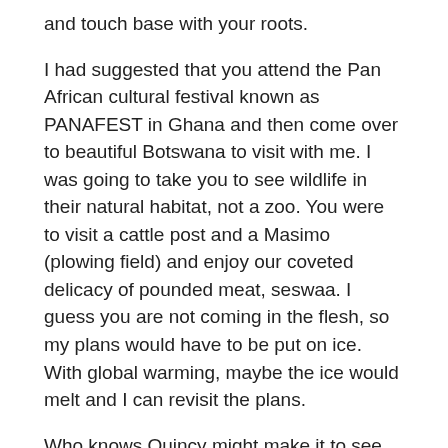and touch base with your roots.
I had suggested that you attend the Pan African cultural festival known as PANAFEST in Ghana and then come over to beautiful Botswana to visit with me. I was going to take you to see wildlife in their natural habitat, not a zoo. You were to visit a cattle post and a Masimo (plowing field) and enjoy our coveted delicacy of pounded meat, seswaa. I guess you are not coming in the flesh, so my plans would have to be put on ice. With global warming, maybe the ice would melt and I can revisit the plans.
Who knows Quincy might make it to see the stunning beauty of a lady that puts me on her laps day and night to feed and nourish me. She caresses me and supports me. This beautiful lady Botswana is home to great men and women. How can you miss this visit we had planned so long ago? My heart is aching badly. My writing you this letter is a therapeutic coping mechanism I learnt years ago when we